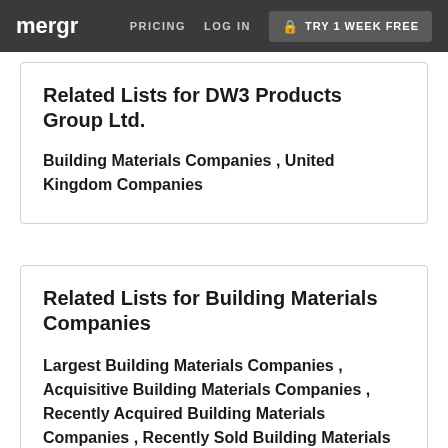mergr  PRICING  LOG IN  TRY 1 WEEK FREE
Related Lists for DW3 Products Group Ltd.
Building Materials Companies , United Kingdom Companies
Related Lists for Building Materials Companies
Largest Building Materials Companies , Acquisitive Building Materials Companies , Recently Acquired Building Materials Companies , Recently Sold Building Materials Companies , Private Building Materials Companies , Public Building Materials